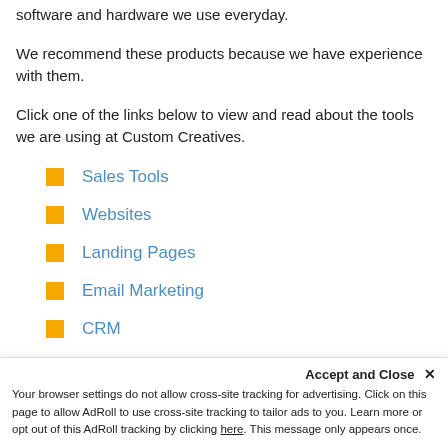software and hardware we use everyday.
We recommend these products because we have experience with them.
Click one of the links below to view and read about the tools we are using at Custom Creatives.
Sales Tools
Websites
Landing Pages
Email Marketing
CRM
Accept and Close ✕
Your browser settings do not allow cross-site tracking for advertising. Click on this page to allow AdRoll to use cross-site tracking to tailor ads to you. Learn more or opt out of this AdRoll tracking by clicking here. This message only appears once.